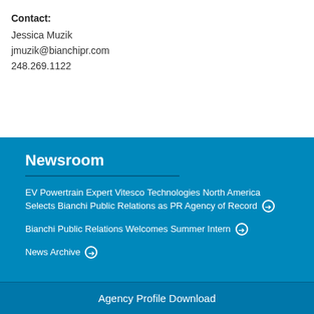Contact:
Jessica Muzik
jmuzik@bianchipr.com
248.269.1122
Newsroom
EV Powertrain Expert Vitesco Technologies North America Selects Bianchi Public Relations as PR Agency of Record →
Bianchi Public Relations Welcomes Summer Intern →
News Archive →
Agency Profile Download